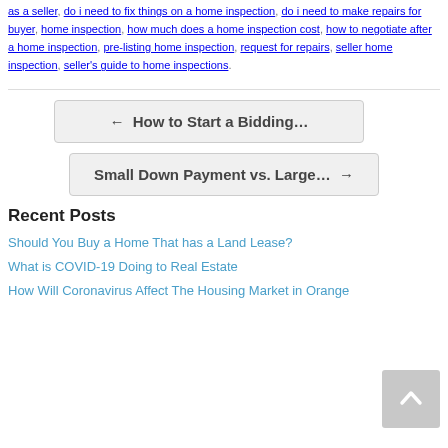as a seller, do i need to fix things on a home inspection, do i need to make repairs for buyer, home inspection, how much does a home inspection cost, how to negotiate after a home inspection, pre-listing home inspection, request for repairs, seller home inspection, seller's guide to home inspections.
← How to Start a Bidding…
Small Down Payment vs. Large… →
Recent Posts
Should You Buy a Home That has a Land Lease?
What is COVID-19 Doing to Real Estate
How Will Coronavirus Affect The Housing Market in Orange